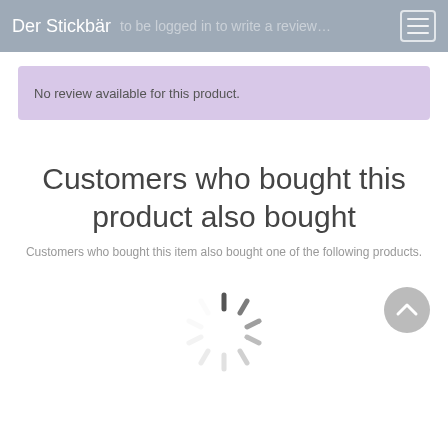Der Stickbär
No review available for this product.
Customers who bought this product also bought
Customers who bought this item also bought one of the following products.
[Figure (other): Loading spinner and scroll-to-top button]